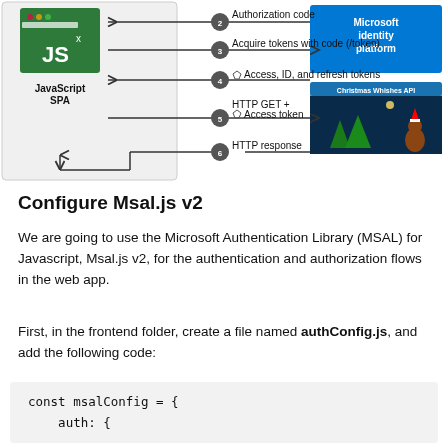[Figure (flowchart): Authentication flow diagram showing JavaScript SPA interacting with Microsoft identity platform and Christmas Wishes API. Steps: 2-Authorization code, 3-Acquire tokens with code (/token), 4-Access/ID/refresh tokens, 5-HTTP GET + Access token, 6-HTTP response.]
Configure Msal.js v2
We are going to use the Microsoft Authentication Library (MSAL) for Javascript, Msal.js v2, for the authentication and authorization flows in the web app.
First, in the frontend folder, create a file named authConfig.js, and add the following code:
const msalConfig = {
    auth: {